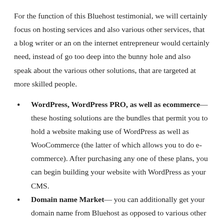For the function of this Bluehost testimonial, we will certainly focus on hosting services and also various other services, that a blog writer or an on the internet entrepreneur would certainly need, instead of go too deep into the bunny hole and also speak about the various other solutions, that are targeted at more skilled people.
WordPress, WordPress PRO, as well as ecommerce— these hosting solutions are the bundles that permit you to hold a website making use of WordPress as well as WooCommerce (the latter of which allows you to do e-commerce). After purchasing any one of these plans, you can begin building your website with WordPress as your CMS.
Domain name Market— you can additionally get your domain name from Bluehost as opposed to various other domain name registrars. Doing so will certainly make it less complicated to aim your domain to your host's name web